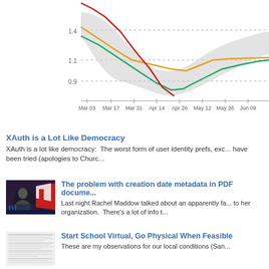[Figure (continuous-plot): Line chart showing three colored lines (red, orange, green) with a gray confidence band, plotted over time from Mar 03 to Jun 09. Y-axis shows values 0.9, 1.1, 1.4. Red line starts high and descends steeply. Orange line descends then rises. Green line dips to a trough around Apr 26 then recovers.]
XAuth is a Lot Like Democracy
XAuth is a lot like democracy:  The worst form of user identity prefs, exc... have been tried (apologies to Churc...
The problem with creation date metadata in PDF docume...
Last night Rachel Maddow talked about an apparently fa... to her organization.  There's a lot of info t...
Start School Virtual, Go Physical When Feasible
These are my observations for our local conditions (San...